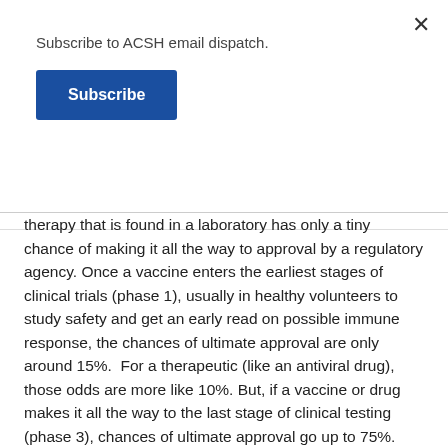Subscribe to ACSH email dispatch.
Subscribe
therapy that is found in a laboratory has only a tiny chance of making it all the way to approval by a regulatory agency. Once a vaccine enters the earliest stages of clinical trials (phase 1), usually in healthy volunteers to study safety and get an early read on possible immune response, the chances of ultimate approval are only around 15%.  For a therapeutic (like an antiviral drug), those odds are more like 10%. But, if a vaccine or drug makes it all the way to the last stage of clinical testing (phase 3), chances of ultimate approval go up to 75%.
(Disclaimer – I don't pretend to be a vaccine expert – and I'm not trying to play one on TV. Feel free to challenge my thoughts with your own research or, if